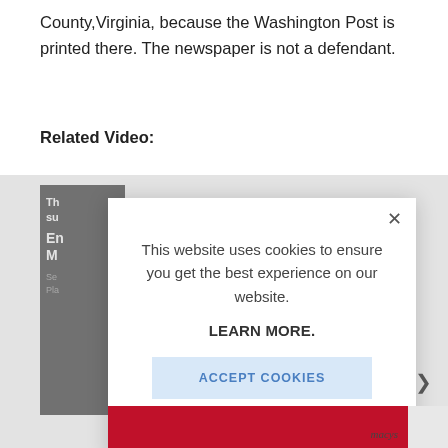County,Virginia, because the Washington Post is printed there. The newspaper is not a defendant.
Related Video:
[Figure (screenshot): Screenshot of a webpage with a cookie consent modal overlay. Background shows a dark video thumbnail with white text partially visible. The modal reads: 'This website uses cookies to ensure you get the best experience on our website. LEARN MORE.' with an 'ACCEPT COOKIES' button in light blue.]